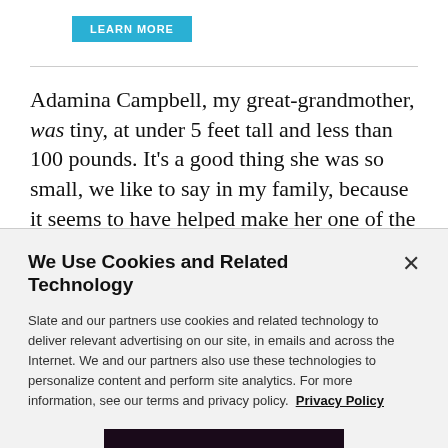[Figure (other): Blue 'LEARN MORE' button]
Adamina Campbell, my great-grandmother, was tiny, at under 5 feet tall and less than 100 pounds. It's a good thing she was so small, we like to say in my family, because it seems to have helped make her one of the 763 people who survived the infamous sinking.
We Use Cookies and Related Technology
Slate and our partners use cookies and related technology to deliver relevant advertising on our site, in emails and across the Internet. We and our partners also use these technologies to personalize content and perform site analytics. For more information, see our terms and privacy policy.  Privacy Policy
OK